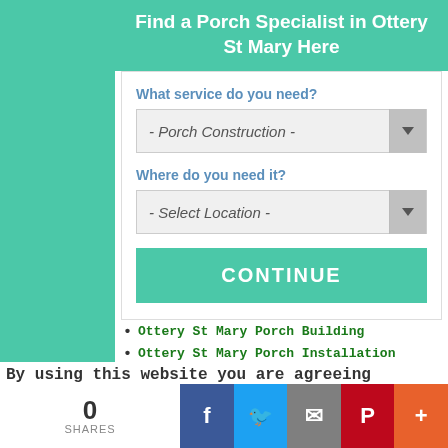Find a Porch Specialist in Ottery St Mary Here
What service do you need?
- Porch Construction -
Where do you need it?
- Select Location -
CONTINUE
Ottery St Mary Porch Building
Ottery St Mary Porch Installation
Ottery St Mary Porch Waterproofing
Ottery St Mary Porch Repairs
Ottery St Mary Porch Renovation
Ottery St Mary Porch Glazing
Ottery St Mary Porch Design
By using this website you are agreeing
0 SHARES | Facebook | Twitter | Email | Pinterest | More